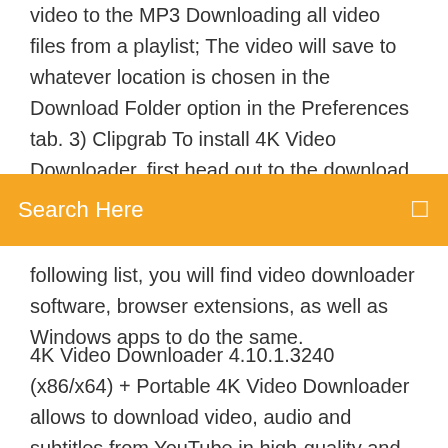video to the MP3 Downloading all video files from a playlist; The video will save to whatever location is chosen in the Download Folder option in the Preferences tab. 3) Clipgrab To install 4K Video Downloader, first head out to the download page and download the latest Debian file for Ubuntu. Once downloaded
[Figure (other): Orange search bar with text 'Search Here' and a search icon on the right]
following list, you will find video downloader software, browser extensions, as well as Windows apps to do the same.
4K Video Downloader 4.10.1.3240 (x86/x64) + Portable 4K Video Downloader allows to download video, audio and subtitles from YouTube in high-quality and as fast as your computer and connection will allow. If you want that video on your iPad, iPhone or other device we've got you covered. Paste the link into the 4K Video Downloader and then select the format as well as the